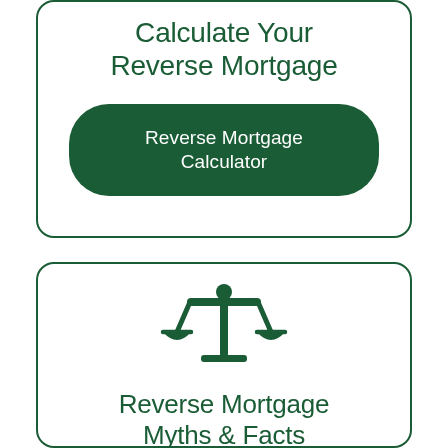Calculate Your Reverse Mortgage
Reverse Mortgage Calculator
[Figure (illustration): Balance scales icon in dark green]
Reverse Mortgage Myths & Facts